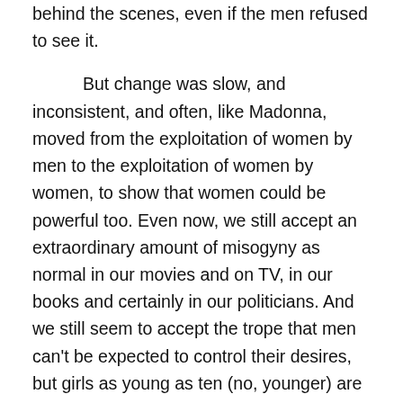behind the scenes, even if the men refused to see it.

But change was slow, and inconsistent, and often, like Madonna, moved from the exploitation of women by men to the exploitation of women by women, to show that women could be powerful too. Even now, we still accept an extraordinary amount of misogyny as normal in our movies and on TV, in our books and certainly in our politicians. And we still seem to accept the trope that men can't be expected to control their desires, but girls as young as ten (no, younger) are held responsible for choosing to wear outfits that men consider provocative, and are assumed to know exactly what impact they are having on men. But girls and women are also judged for being too plain or prudish in the way they dress. A sixteen year old girl who dresses in baggy clothes, or skips